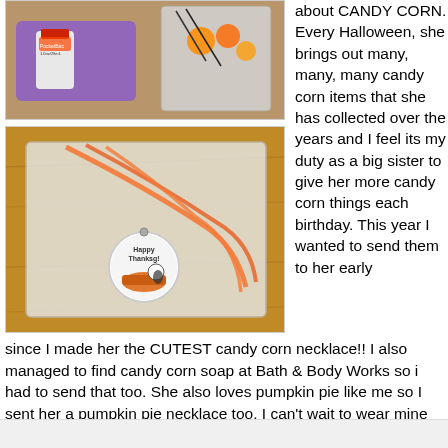[Figure (photo): Top photo showing a purple tray with a Pocket Bac hand sanitizer bottle and a plastic bag with orange items on a wooden surface.]
[Figure (photo): Bottom photo showing a plastic bag on a wooden surface containing a necklace with an orange cord and a round pendant with 'Happy Thanksgiving' text and a pumpkin pie illustration.]
about CANDY CORN. Every Halloween, she brings out many, many, many candy corn items that she has collected over the years and I feel its my duty as a big sister to give her more candy corn things each birthday. This year I wanted to send them to her early since I made her the CUTEST candy corn necklace!! I also managed to find candy corn soap at Bath & Body Works so i had to send that too. She also loves pumpkin pie like me so I sent her a pumpkin pie necklace too. I can't wait to wear mine around Thanksgiving!! LOL